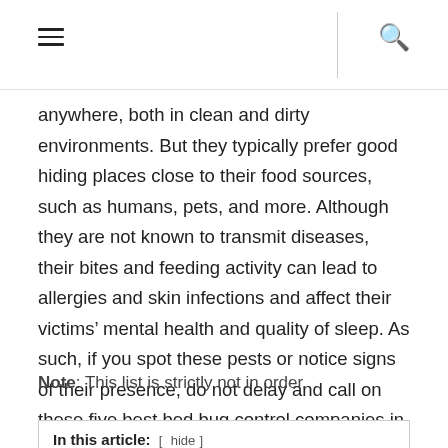[hamburger menu icon] [search icon]
anywhere, both in clean and dirty environments. But they typically prefer good hiding places close to their food sources, such as humans, pets, and more. Although they are not known to transmit diseases, their bites and feeding activity can lead to allergies and skin infections and affect their victims' mental health and quality of sleep. As such, if you spot these pests or notice signs of their presence, do not delay and call on these five best bed bug control companies in Singapore.
Note: This list is strictly not in order.
In this article: [ hide ]
1. PestClinic